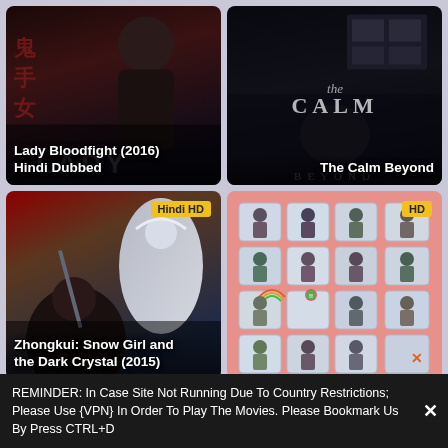[Figure (photo): Movie poster for Lady Bloodfight (2016) Hindi Dubbed — dark action film with female fighter against dark background with Chinese characters]
Lady Bloodfight (2016) Hindi Dubbed
[Figure (photo): Movie poster for The Calm Beyond — moody dark atmospheric film with person's face barely visible in darkness, title text overlay]
The Calm Beyond
[Figure (photo): Movie poster for Zhongkui: Snow Girl and the Dark Crystal (2015) — fantasy film with warrior and white-clad female figure, badge: Hindi HD]
Zhongkui: Snow Girl and
the Dark Crystal (2015)
[Figure (photo): Movie poster with pink background showing grid of photo-booth style images of various people, badge: HD]
REMINDER: In Case Site Not Running Due To Country Restrictions; Please Use {VPN} In Order To Play The Movies. Please Bookmark Us By Press CTRL+D